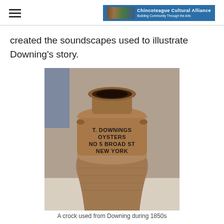Chincoteague Cultural Alliance — Building Community Through the Arts
created the soundscapes used to illustrate Downing's story.
[Figure (photo): A ceramic stoneware crock/jug with stamped text reading 'T. DOWNINGS OYSTERS NO 5 BROAD ST NEW YORK']
A crock used from Downing during 1850s